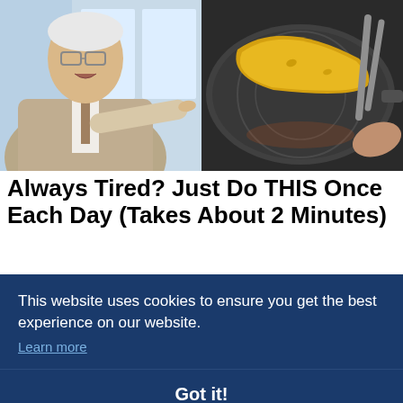[Figure (photo): Split image: left side shows an older man in a suit with glasses pointing his finger; right side shows a banana being cooked in a frying pan with tongs]
Always Tired? Just Do THIS Once Each Day (Takes About 2 Minutes)
Top Heart Doctor - There's a "biological switch" you can flip ...an flip prim...
This website uses cookies to ensure you get the best experience on our website.
Learn more
Got it!
[Figure (photo): Partial view of bottom image strip with warm-toned food/lifestyle photos]